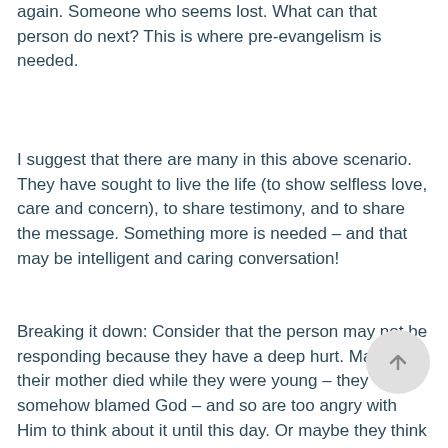again. Someone who seems lost. What can that person do next? This is where pre-evangelism is needed.
I suggest that there are many in this above scenario. They have sought to live the life (to show selfless love, care and concern), to share testimony, and to share the message. Something more is needed – and that may be intelligent and caring conversation!
Breaking it down: Consider that the person may not be responding because they have a deep hurt. Maybe their mother died while they were young – they somehow blamed God – and so are too angry with Him to think about it until this day. Or maybe they think all religions are